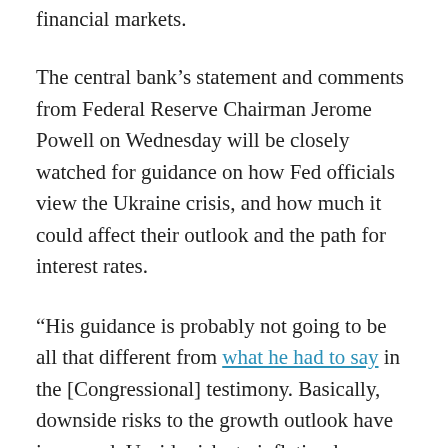financial markets.
The central bank's statement and comments from Federal Reserve Chairman Jerome Powell on Wednesday will be closely watched for guidance on how Fed officials view the Ukraine crisis, and how much it could affect their outlook and the path for interest rates.
“His guidance is probably not going to be all that different from what he had to say in the [Congressional] testimony. Basically, downside risks to the growth outlook have increased. Upside risks to inflation have risen,” said Mark Cabana, head of U.S. short rates strategy at Bank of America.
Because Russia is a giant commodities producer, its assault on Ukraine and resulting sanctions have set off a rally in commodities markets that has made already-reaching...